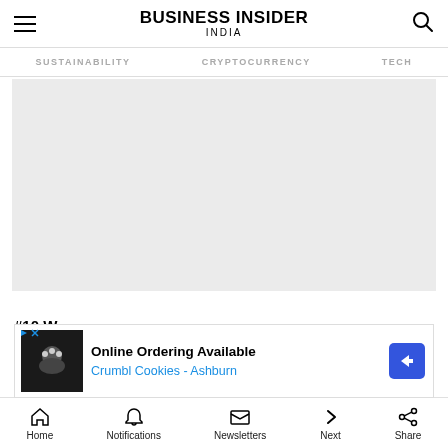Business Insider India
SUSTAINABILITY   CRYPTOCURRENCY   TECH
[Figure (other): Advertisement placeholder (gray rectangle)]
#10 W...
[Figure (other): Bottom ad banner: Online Ordering Available - Crumbl Cookies - Ashburn]
Home  Notifications  Newsletters  Next  Share